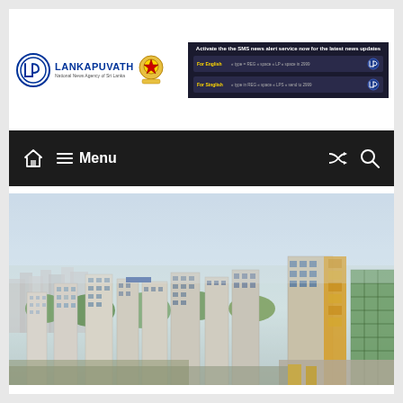[Figure (logo): Lankapuvath National News Agency of Sri Lanka logo with LP circle emblem and Sri Lanka coat of arms]
[Figure (infographic): SMS news alert service banner in dark blue: 'Activate the the SMS news alert service now for the latest news updates' with rows for English and Singlish instructions]
[Figure (screenshot): Navigation bar with home icon, menu hamburger icon, Menu text, shuffle icon and search icon on dark background]
[Figure (photo): Aerial cityscape photograph showing dense urban area with multiple high-rise apartment buildings, green trees interspersed, and a building under construction with scaffolding on the right side, hazy sky]